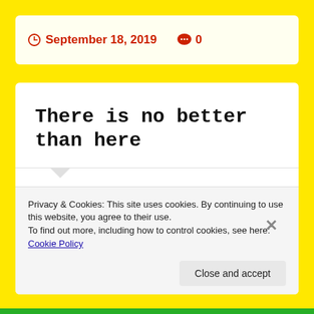September 18, 2019   0
There is no better than here
Privacy & Cookies: This site uses cookies. By continuing to use this website, you agree to their use.
To find out more, including how to control cookies, see here: Cookie Policy
Close and accept